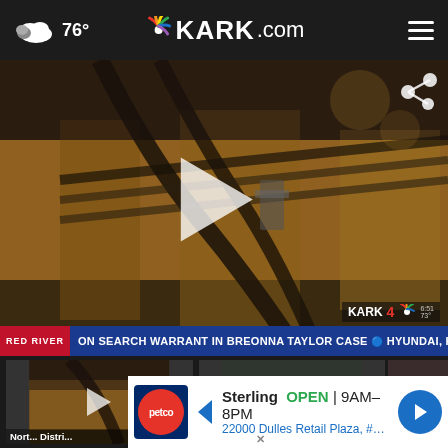76° KARK.com
[Figure (screenshot): Video thumbnail showing close-up of school bus seats and metal frames with a play button overlay. KARK 4 NBC watermark visible. Ticker bar reads: RED RIVER ... ON SEARCH WARRANT IN BREONNA TAYLOR CASE ... HYUNDAI, KIA ... HEADLINES]
[Figure (screenshot): Thumbnail 1: school bus close-up image with play button. Caption: North ... Distri...]
[Figure (screenshot): Thumbnail 2: crowd scene with play button and close (X) button]
[Figure (screenshot): Thumbnail 3: partial image. Caption: Retire... retur...]
[Figure (screenshot): Ad banner: Petco - Sterling OPEN 9AM-8PM, 22000 Dulles Retail Plaza, #110, Sterli...]